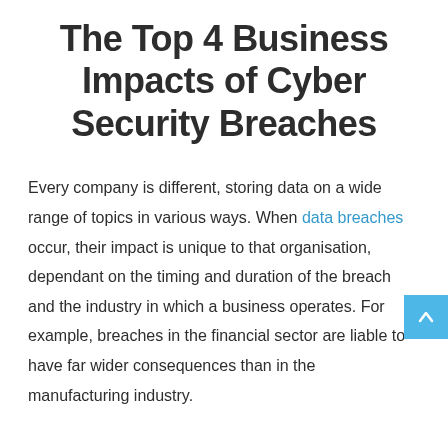The Top 4 Business Impacts of Cyber Security Breaches
Every company is different, storing data on a wide range of topics in various ways. When data breaches occur, their impact is unique to that organisation, dependant on the timing and duration of the breach and the industry in which a business operates. For example, breaches in the financial sector are liable to have far wider consequences than in the manufacturing industry.